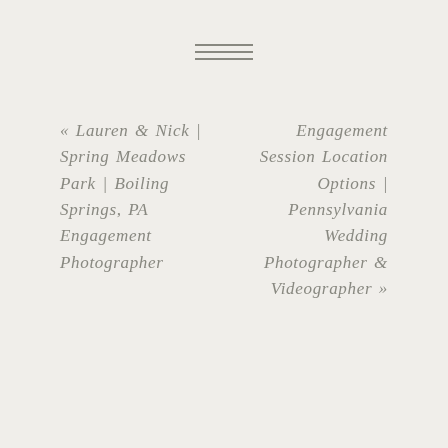[Figure (other): Hamburger menu icon with three horizontal lines]
« Lauren & Nick | Spring Meadows Park | Boiling Springs, PA Engagement Photographer
Engagement Session Location Options | Pennsylvania Wedding Photographer & Videographer »